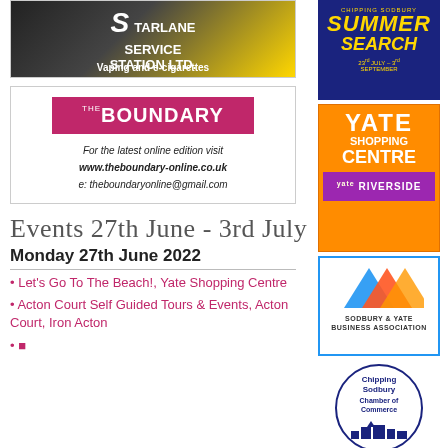[Figure (logo): Starlane Service Station Ltd - Vaping and e-cigarettes advertisement]
[Figure (logo): The Boundary magazine logo with website and email contact]
For the latest online edition visit www.theboundary-online.co.uk
e: theboundaryonline@gmail.com
Events 27th June - 3rd July
Monday 27th June 2022
Let's Go To The Beach!, Yate Shopping Centre
Acton Court Self Guided Tours & Events, Acton Court, Iron Acton
[Figure (logo): Chipping Sodbury Summer Search - 23rd July - 3rd September advertisement on dark blue background]
[Figure (logo): Yate Shopping Centre with Riverside section - orange background advertisement]
[Figure (logo): Sodbury & Yate Business Association logo]
[Figure (logo): Chipping Sodbury Chamber of Commerce circular logo]